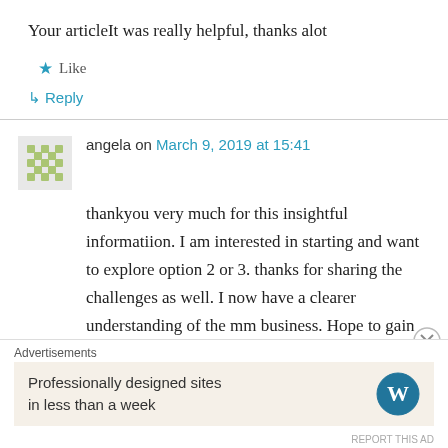Your articleIt was really helpful, thanks alot
★ Like
↳ Reply
angela on March 9, 2019 at 15:41
thankyou very much for this insightful informatiion. I am interested in starting and want to explore option 2 or 3. thanks for sharing the challenges as well. I now have a clearer understanding of the mm business. Hope to gain more from your insightful consul in the coming future
Advertisements
Professionally designed sites in less than a week